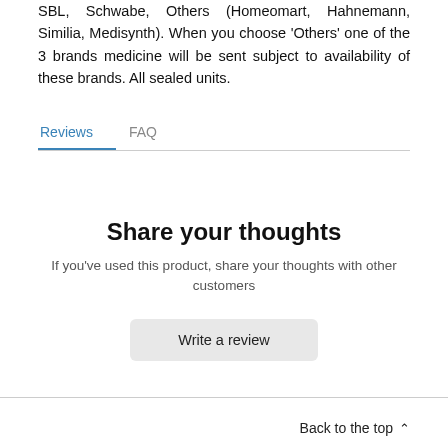Belladonna Homeopathy Mother Tincture is available in SBL, Schwabe, Others (Homeomart, Hahnemann, Similia, Medisynth). When you choose 'Others' one of the 3 brands medicine will be sent subject to availability of these brands. All sealed units.
Reviews   FAQ
Share your thoughts
If you've used this product, share your thoughts with other customers
Write a review
Back to the top ^